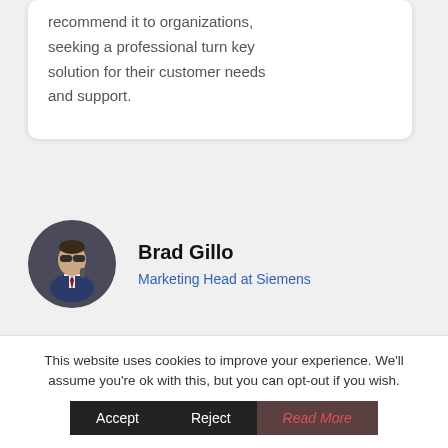recommend it to organizations, seeking a professional turn key solution for their customer needs and support.
[Figure (photo): Circular profile photo of Brad Gillo, a man in a blue vest and white shirt wearing sunglasses, against a dark background.]
Brad Gillo
Marketing Head at Siemens
This website uses cookies to improve your experience. We'll assume you're ok with this, but you can opt-out if you wish.
Accept  Reject  Read More